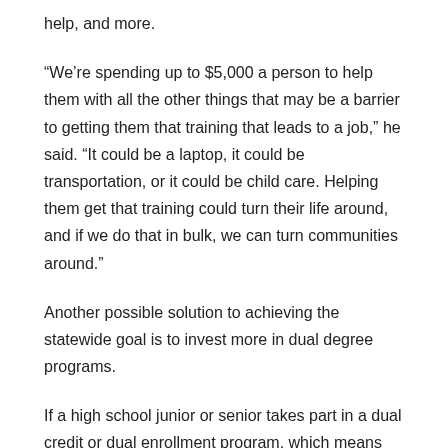help, and more.
“We’re spending up to $5,000 a person to help them with all the other things that may be a barrier to getting them that training that leads to a job,” he said. “It could be a laptop, it could be transportation, or it could be child care. Helping them get that training could turn their life around, and if we do that in bulk, we can turn communities around.”
Another possible solution to achieving the statewide goal is to invest more in dual degree programs.
If a high school junior or senior takes part in a dual credit or dual enrollment program, which means they’re taking a college class while still enrolled in high school, “they are much more likely, and this is based on Rhode Island data, much more likely to graduate college,” Gilkey said.